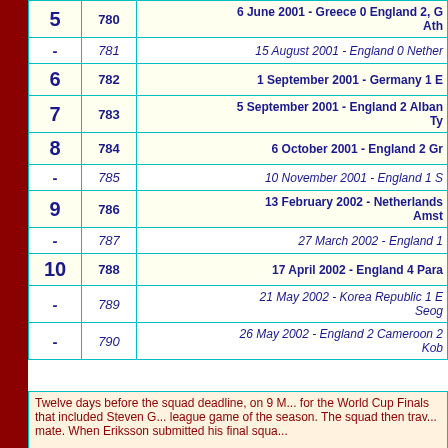| # | Match | Description |
| --- | --- | --- |
| 5 | 780 | 6 June 2001 - Greece 0 England 2, G... Ath... |
| - | 781 | 15 August 2001 - England 0 Nether... |
| 6 | 782 | 1 September 2001 - Germany 1 E... |
| 7 | 783 | 5 September 2001 - England 2 Alban... Ty... |
| 8 | 784 | 6 October 2001 - England 2 Gr... |
| - | 785 | 10 November 2001 - England 1 S... |
| 9 | 786 | 13 February 2002 - Netherlands... Amst... |
| - | 787 | 27 March 2002 - England 1... |
| 10 | 788 | 17 April 2002 - England 4 Para... |
| - | 789 | 21 May 2002 - Korea Republic 1 E... Seog... |
| - | 790 | 26 May 2002 - England 2 Cameroon 2... Kob... |
Twelve days before the squad deadline, on 9 M... for the World Cup Finals that included Steven G... league game of the season. The squad then trav... mate. When Eriksson submitted his final squa...